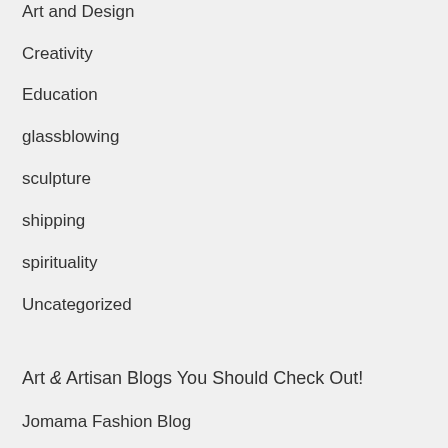Art and Design
Creativity
Education
glassblowing
sculpture
shipping
spirituality
Uncategorized
Art & Artisan Blogs You Should Check Out!
Jomama Fashion Blog